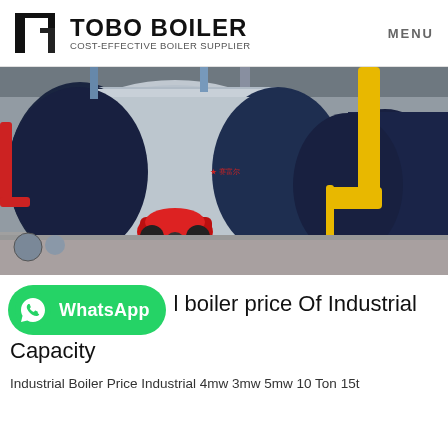TOBO BOILER — COST-EFFECTIVE BOILER SUPPLIER — MENU
[Figure (photo): Industrial gas/oil-fired steam boilers in a factory setting. Two large cylindrical boilers visible with red burner attachment and yellow gas pipe.]
l boiler price Of Industrial Capacity
Industrial Boiler Price Industrial 4mw 3mw 5mw 10 Ton 15t